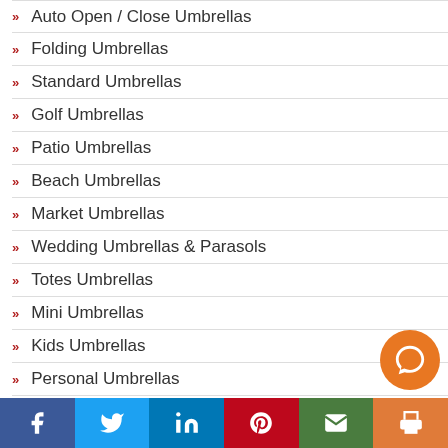Auto Open / Close Umbrellas
Folding Umbrellas
Standard Umbrellas
Golf Umbrellas
Patio Umbrellas
Beach Umbrellas
Market Umbrellas
Wedding Umbrellas & Parasols
Totes Umbrellas
Mini Umbrellas
Kids Umbrellas
Personal Umbrellas
Facebook Twitter LinkedIn Pinterest Email Print